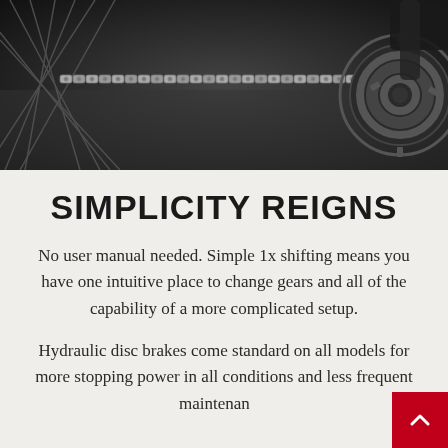[Figure (photo): Close-up photograph of a bicycle chain, rear cassette, and wheel spokes on a dark background. The chain is silver/metallic running across the frame.]
SIMPLICITY REIGNS
No user manual needed. Simple 1x shifting means you have one intuitive place to change gears and all of the capability of a more complicated setup.
Hydraulic disc brakes come standard on all models for more stopping power in all conditions and less frequent maintenance.